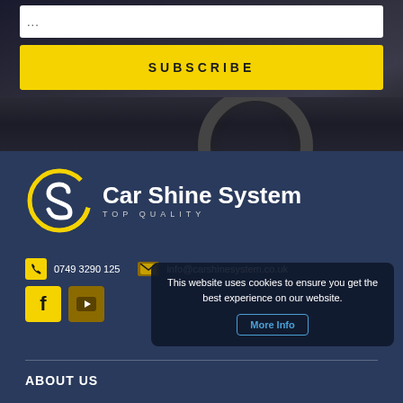...
SUBSCRIBE
[Figure (logo): Car Shine System logo with yellow circular S icon and white bold text 'Car Shine System' with tagline 'TOP QUALITY']
0749 3290 125
info@carshinesystem.co.uk
This website uses cookies to ensure you get the best experience on our website.
More Info
ABOUT US